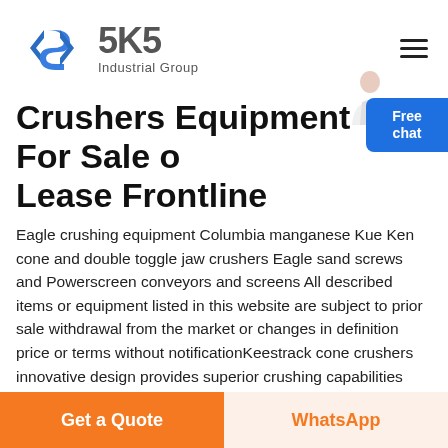[Figure (logo): SKS Industrial Group logo: blue angular S-shaped icon on left, large grey '5K5' text and 'Industrial Group' subtitle on right]
Crushers Equipment For Sale or Lease Frontline
Eagle crushing equipment Columbia manganese Kue Ken cone and double toggle jaw crushers Eagle sand screws and Powerscreen conveyors and screens All described items or equipment listed in this website are subject to prior sale withdrawal from the market or changes in definition price or terms without notificationKeestrack cone crushers innovative design provides superior crushing capabilities with optimal fuel
Get a Quote
WhatsApp